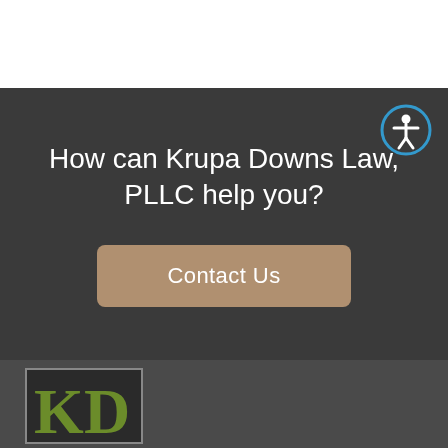How can Krupa Downs Law, PLLC help you?
Contact Us
[Figure (logo): KD logo — letters KD in olive/green on a dark background with a rectangular border]